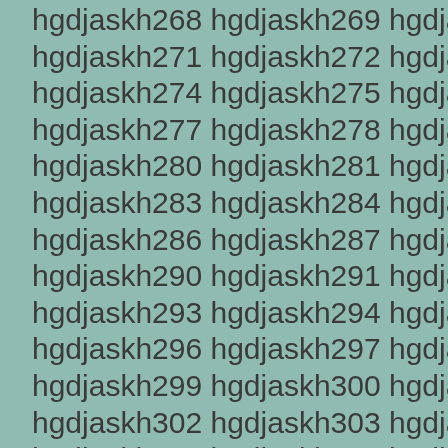hgdjaskh268 hgdjaskh269 hgdjaskh270 hgdjaskh271 hgdjaskh272 hgdjaskh273 hgdjaskh274 hgdjaskh275 hgdjaskh276 hgdjaskh277 hgdjaskh278 hgdjaskh279 hgdjaskh280 hgdjaskh281 hgdjaskh282 hgdjaskh283 hgdjaskh284 hgdjaskh285 hgdjaskh286 hgdjaskh287 hgdjaskh289 hgdjaskh290 hgdjaskh291 hgdjaskh292 hgdjaskh293 hgdjaskh294 hgdjaskh295 hgdjaskh296 hgdjaskh297 hgdjaskh298 hgdjaskh299 hgdjaskh300 hgdjaskh301 hgdjaskh302 hgdjaskh303 hgdjaskh304 hgdjaskh305 hgdjaskh306 hgdjaskh307 hgdjaskh308 hgdjaskh309 hgdjaskh310